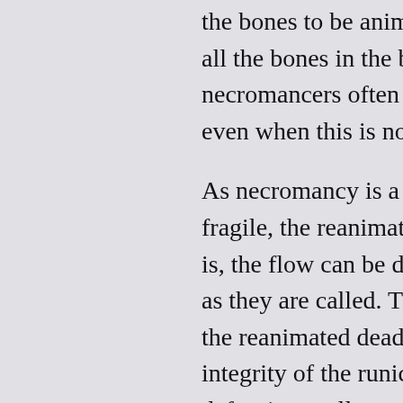the bones to be animated from the corpse, all the bones in the body uncovered. Out necromancers often strip away the flesh f even when this is no longer a technical ne
As necromancy is a complex and intricate fragile, the reanimated are quite vulnerab is, the flow can be disrupted by any sudde as they are called. Thus, offensive magics the reanimated dead, and defensive magi integrity of the runic transmission driving t defensive spell or enchant, it can "wound" forces holding them together weaken.
You put the book aside for a moment, anc useful to you. The frost runes you picked runes could easily provide a spike of arca skeletons. The dead would be put to rest.
(Cargo pants are fun, useful, and look fine
(Oh, and you're not allowed to do necrom hate you for it. And it's very complicated a that would teach you how to do that. So, r purposes. You can disanimate [not to be c joke] skeletons, but you lack the skills, res